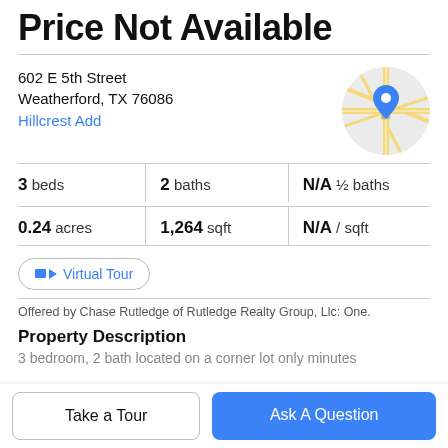Price Not Available
602 E 5th Street
Weatherford, TX 76086
Hillcrest Add
[Figure (map): Circular map thumbnail showing a blue location pin over a street map near Weatherford, TX]
3 beds   2 baths   N/A ½ baths
0.24 acres   1,264 sqft   N/A / sqft
Virtual Tour
Offered by Chase Rutledge of Rutledge Realty Group, Llc: One.
Property Description
3 bedroom, 2 bath located on a corner lot only minutes
Take a Tour
Ask A Question